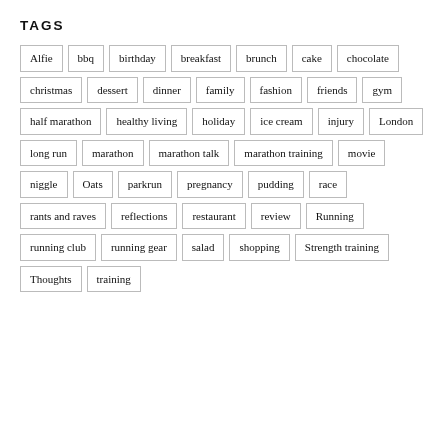TAGS
Alfie
bbq
birthday
breakfast
brunch
cake
chocolate
christmas
dessert
dinner
family
fashion
friends
gym
half marathon
healthy living
holiday
ice cream
injury
London
long run
marathon
marathon talk
marathon training
movie
niggle
Oats
parkrun
pregnancy
pudding
race
rants and raves
reflections
restaurant
review
Running
running club
running gear
salad
shopping
Strength training
Thoughts
training